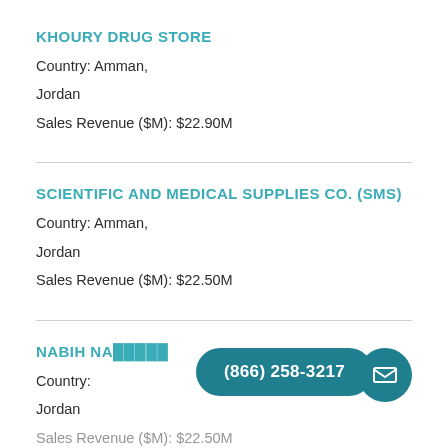KHOURY DRUG STORE
Country: Amman,
Jordan
Sales Revenue ($M): $22.90M
SCIENTIFIC AND MEDICAL SUPPLIES CO. (SMS)
Country: Amman,
Jordan
Sales Revenue ($M): $22.50M
NABIH NA...
Country:
Jordan
Sales Revenue ($M): $22.50M